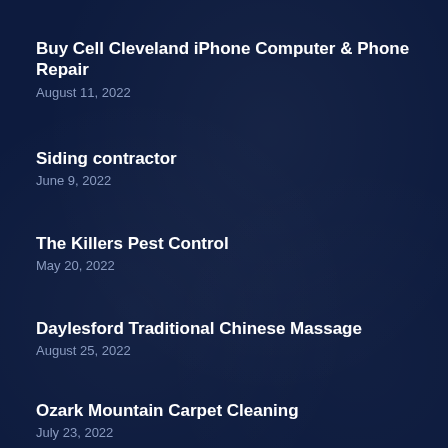Buy Cell Cleveland iPhone Computer & Phone Repair
August 11, 2022
Siding contractor
June 9, 2022
The Killers Pest Control
May 20, 2022
Daylesford Traditional Chinese Massage
August 25, 2022
Ozark Mountain Carpet Cleaning
July 23, 2022